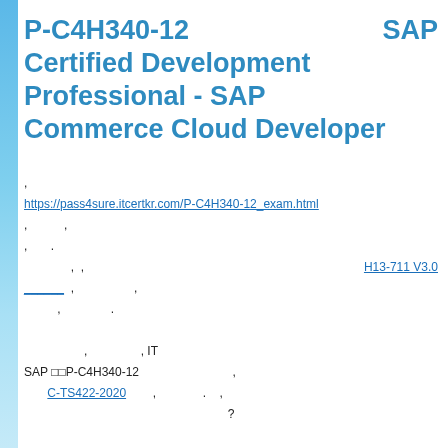P-C4H340-12   SAP Certified Development Professional - SAP Commerce Cloud Developer
, https://pass4sure.itcertkr.com/P-C4H340-12_exam.html , , , . , , H13-711 V3.0 _______ , , , . , , , IT SAP □□P-C4H340-12 , C-TS422-2020 , . , ?